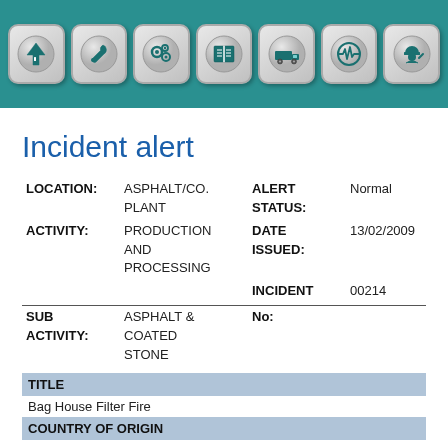[Figure (screenshot): Navigation toolbar with 7 icons on teal background: arrow/road, wrench, gears, book, truck, heartbeat/EKG, worker with helmet]
Incident alert
| LOCATION: | ASPHALT/CO. PLANT | ALERT STATUS: | Normal |
| ACTIVITY: | PRODUCTION AND PROCESSING | DATE ISSUED: | 13/02/2009 |
|  |  | INCIDENT No: | 00214 |
| SUB ACTIVITY: | ASPHALT & COATED STONE |  |  |
| TITLE |
| --- |
| Bag House Filter Fire |
| COUNTRY OF ORIGIN |
| --- |
|  |